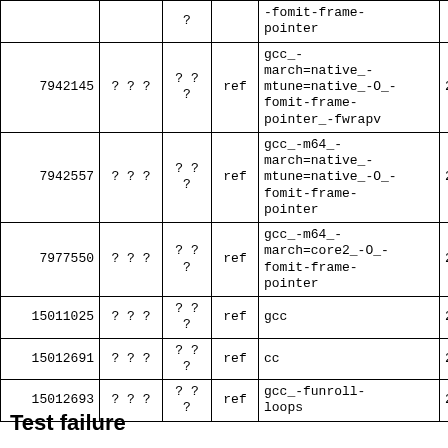| ID | ??? | ??? | ref | Compiler flags | 201 |
| --- | --- | --- | --- | --- | --- |
|  |  | ? |  | -fomit-frame-pointer |  |
| 7942145 | ??? | ??\n? | ref | gcc_-march=native_-mtune=native_-O_-fomit-frame-pointer_-fwrapv | 201 |
| 7942557 | ??? | ??\n? | ref | gcc_-m64_-march=native_-mtune=native_-O_-fomit-frame-pointer | 201 |
| 7977550 | ??? | ??\n? | ref | gcc_-m64_-march=core2_-O_-fomit-frame-pointer | 201 |
| 15011025 | ??? | ??\n? | ref | gcc | 201 |
| 15012691 | ??? | ??\n? | ref | cc | 201 |
| 15012693 | ??? | ??\n? | ref | gcc_-funroll-loops | 201 |
Test failure